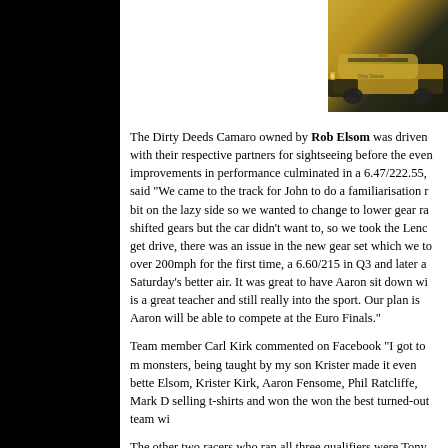[Figure (photo): Photo of the Dirty Deeds Camaro, a gold/yellow muscle car with black stripes, rear view, on a track or parking area.]
The Dirty Deeds Camaro owned by Rob Elsom was driven with their respective partners for sightseeing before the event, improvements in performance culminated in a 6.47/222.55, said "We came to the track for John to do a familiarisation run bit on the lazy side so we wanted to change to lower gear ratios shifted gears but the car didn't want to, so we took the Lenco get drive, there was an issue in the new gear set which we took over 200mph for the first time, a 6.60/215 in Q3 and later a Saturday's better air. It was great to have Aaron sit down with is a great teacher and still really into the sport. Our plan is to Aaron will be able to compete at the Euro Finals."
Team member Carl Kirk commented on Facebook "I got to monsters, being taught by my son Krister made it even better. Elsom, Krister Kirk, Aaron Fensome, Phil Ratcliffe, Mark D selling t-shirts and won the won the best turned-out team wi
The other two racers who ran all three qualifiers were Tony slingshot dragster).